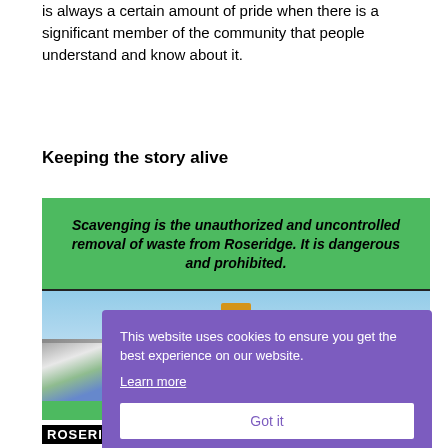is always a certain amount of pride when there is a significant member of the community that people understand and know about it.
Keeping the story alive
[Figure (infographic): Green banner with bold italic text: 'Scavenging is the unauthorized and uncontrolled removal of waste from Roseridge. It is dangerous and prohibited.' Below is a photo of a waste/landfill site with a yellow bulldozer machine, debris and rubble visible. A purple cookie consent overlay is shown on top with 'Got it' button. A Roseridge Waste Management logo strip is at the bottom.]